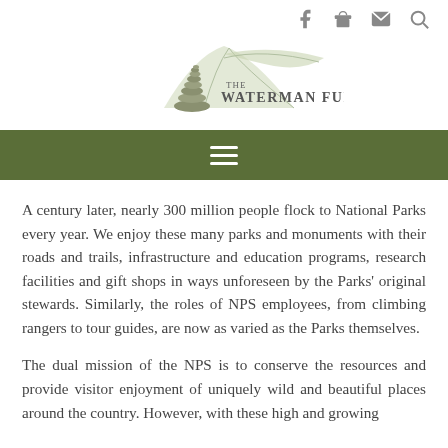Social icons: Facebook, Gift, Email, Search
[Figure (logo): The Waterman Fund logo with stacked stones and mountain silhouette]
[Figure (infographic): Dark olive green navigation bar with hamburger menu icon]
A century later, nearly 300 million people flock to National Parks every year. We enjoy these many parks and monuments with their roads and trails, infrastructure and education programs, research facilities and gift shops in ways unforeseen by the Parks' original stewards. Similarly, the roles of NPS employees, from climbing rangers to tour guides, are now as varied as the Parks themselves.
The dual mission of the NPS is to conserve the resources and provide visitor enjoyment of uniquely wild and beautiful places around the country. However, with these high and growing